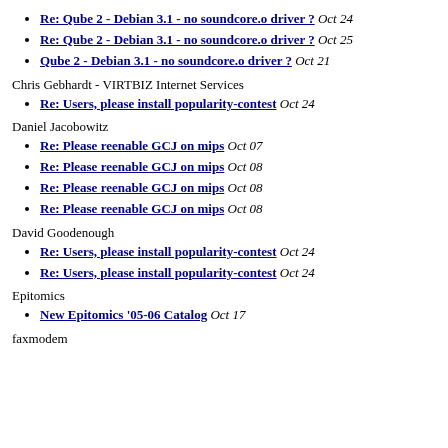Re: Qube 2 - Debian 3.1 - no soundcore.o driver ? Oct 24
Re: Qube 2 - Debian 3.1 - no soundcore.o driver ? Oct 25
Qube 2 - Debian 3.1 - no soundcore.o driver ? Oct 21
Chris Gebhardt - VIRTBIZ Internet Services
Re: Users, please install popularity-contest Oct 24
Daniel Jacobowitz
Re: Please reenable GCJ on mips Oct 07
Re: Please reenable GCJ on mips Oct 08
Re: Please reenable GCJ on mips Oct 08
Re: Please reenable GCJ on mips Oct 08
David Goodenough
Re: Users, please install popularity-contest Oct 24
Re: Users, please install popularity-contest Oct 24
Epitomics
New Epitomics '05-06 Catalog Oct 17
faxmodem